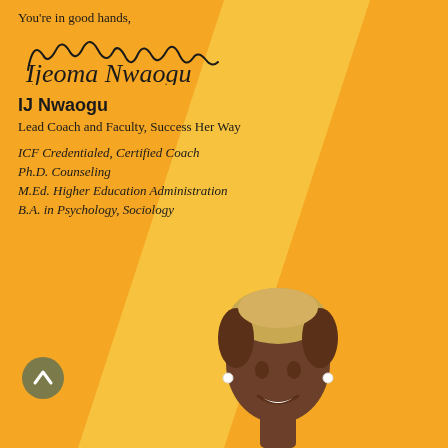You're in good hands,
[Figure (illustration): Handwritten cursive signature reading 'Ijeoma Nwaogu']
IJ Nwaogu
Lead Coach and Faculty, Success Her Way
ICF Credentialed, Certified Coach
Ph.D. Counseling
M.Ed. Higher Education Administration
B.A. in Psychology, Sociology
[Figure (photo): Photo of IJ Nwaogu, a smiling woman with short blonde-tipped hair, cropped at bottom of page]
[Figure (illustration): Circular scroll-up button with chevron/arrow icon, olive/dark yellow color, bottom left corner]